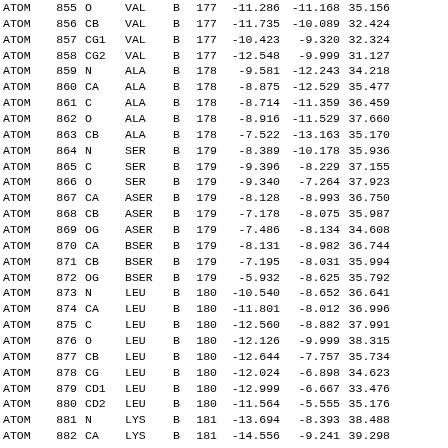| Record | Serial | Name | ResName | Chain | SeqNo | X | Y | Z | ... |
| --- | --- | --- | --- | --- | --- | --- | --- | --- | --- |
| ATOM | 855 | O | VAL | B | 177 | -11.286 | -11.168 | 35.156 |  |
| ATOM | 856 | CB | VAL | B | 177 | -11.735 | -10.089 | 32.424 |  |
| ATOM | 857 | CG1 | VAL | B | 177 | -10.423 | -9.320 | 32.324 |  |
| ATOM | 858 | CG2 | VAL | B | 177 | -12.548 | -9.999 | 31.127 |  |
| ATOM | 859 | N | ALA | B | 178 | -9.581 | -12.243 | 34.218 |  |
| ATOM | 860 | CA | ALA | B | 178 | -8.875 | -12.529 | 35.477 |  |
| ATOM | 861 | C | ALA | B | 178 | -8.714 | -11.359 | 36.459 |  |
| ATOM | 862 | O | ALA | B | 178 | -8.916 | -11.529 | 37.660 |  |
| ATOM | 863 | CB | ALA | B | 178 | -7.522 | -13.163 | 35.170 |  |
| ATOM | 864 | N | SER | B | 179 | -8.389 | -10.178 | 35.936 |  |
| ATOM | 865 | C | SER | B | 179 | -9.396 | -8.229 | 37.155 |  |
| ATOM | 866 | O | SER | B | 179 | -9.340 | -7.264 | 37.923 |  |
| ATOM | 867 | CA | ASER | B | 179 | -8.128 | -8.993 | 36.750 |  |
| ATOM | 868 | CB | ASER | B | 179 | -7.178 | -8.075 | 35.987 |  |
| ATOM | 869 | OG | ASER | B | 179 | -7.486 | -8.134 | 34.608 |  |
| ATOM | 870 | CA | BSER | B | 179 | -8.131 | -8.982 | 36.744 |  |
| ATOM | 871 | CB | BSER | B | 179 | -7.195 | -8.031 | 35.994 |  |
| ATOM | 872 | OG | BSER | B | 179 | -5.932 | -8.625 | 35.792 |  |
| ATOM | 873 | N | LEU | B | 180 | -10.540 | -8.652 | 36.641 |  |
| ATOM | 874 | CA | LEU | B | 180 | -11.801 | -8.012 | 36.996 |  |
| ATOM | 875 | C | LEU | B | 180 | -12.560 | -8.882 | 37.991 |  |
| ATOM | 876 | O | LEU | B | 180 | -12.126 | -9.999 | 38.315 |  |
| ATOM | 877 | CB | LEU | B | 180 | -12.644 | -7.757 | 35.734 |  |
| ATOM | 878 | CG | LEU | B | 180 | -12.024 | -6.898 | 34.623 |  |
| ATOM | 879 | CD1 | LEU | B | 180 | -12.999 | -6.667 | 33.476 |  |
| ATOM | 880 | CD2 | LEU | B | 180 | -11.564 | -5.555 | 35.176 |  |
| ATOM | 881 | N | LYS | B | 181 | -13.694 | -8.393 | 38.488 |  |
| ATOM | 882 | CA | LYS | B | 181 | -14.556 | -9.241 | 39.298 |  |
| ATOM | 883 | C | LYS | B | 181 | -14.965 | -10.484 | 38.499 |  |
| ATOM | 884 | O | LYS | B | 181 | -15.053 | -10.444 | 37.262 |  |
| ATOM | 885 | CB | LYS | B | 181 | -15.786 | -8.490 | 39.827 |  |